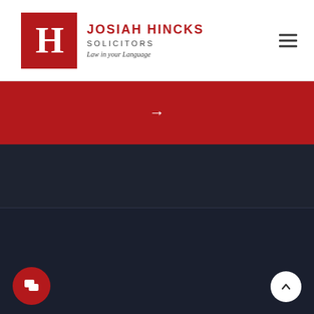Josiah Hincks Solicitors — Law in your Language
[Figure (other): Red bar with right arrow navigation element]
[Figure (other): Dark navy background section]
© 2022 Copyright (C) Josiah Hincks Solicitors
Web Design by Whimsie Creative